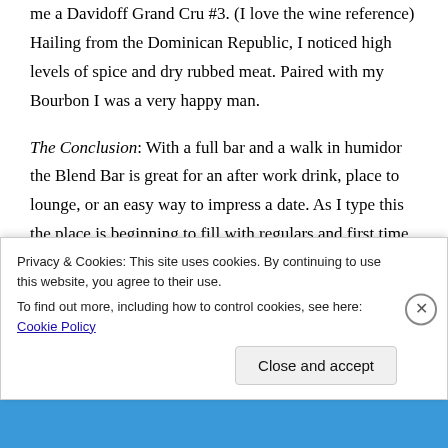me a Davidoff Grand Cru #3. (I love the wine reference) Hailing from the Dominican Republic, I noticed high levels of spice and dry rubbed meat. Paired with my Bourbon I was a very happy man.
The Conclusion: With a full bar and a walk in humidor the Blend Bar is great for an after work drink, place to lounge, or an easy way to impress a date. As I type this the place is beginning to fill with regulars and first time customers. Everyone is relaxing and mingling, joyful that work is over and it is time to kick back. I can see
Privacy & Cookies: This site uses cookies. By continuing to use this website, you agree to their use.
To find out more, including how to control cookies, see here: Cookie Policy
Close and accept